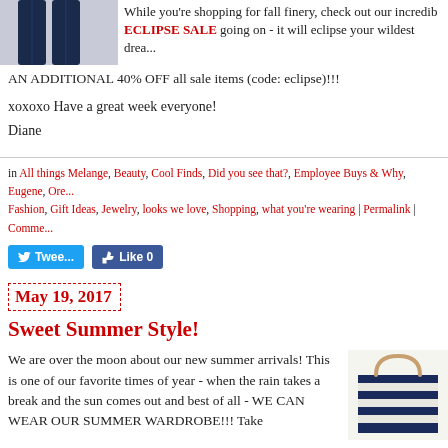[Figure (illustration): Product image showing jeans/clothing items cropped at top]
While you're shopping for fall finery, check out our incredible ECLIPSE SALE going on - it will eclipse your wildest drea...
AN ADDITIONAL 40% OFF all sale items (code: eclipse)!!!
xoxoxo Have a great week everyone!
Diane
in All things Melange, Beauty, Cool Finds, Did you see that?, Employee Buys & Why, Eugene, Ore..., Fashion, Gift Ideas, Jewelry, looks we love, Shopping, what you're wearing | Permalink | Comme...
May 19, 2017
Sweet Summer Style!
We are over the moon about our new summer arrivals! This is one of our favorite times of year - when the rain takes a break and the sun comes out and best of all - WE CAN WEAR OUR SUMMER WARDROBE!!! Take
[Figure (photo): Striped tote bag with tan/gold handles, navy and white stripes]